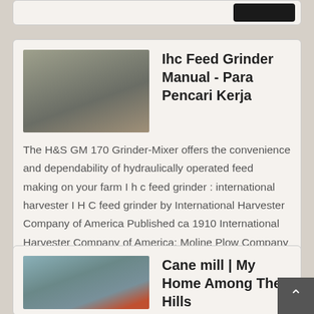[Figure (photo): Partial card at top of page with a dark button on the right]
[Figure (photo): Industrial feed grinder or mill machinery, outdoor setting]
Ihc Feed Grinder Manual - Para Pencari Kerja
The H&S GM 170 Grinder-Mixer offers the convenience and dependability of hydraulically operated feed making on your farm I h c feed grinder : international harvester I H C feed grinder by International Harvester Company of America Published ca 1910 International Harvester Company of America; Moline Plow Company 1,049 International ,
Get Price
[Figure (photo): Industrial cane mill or factory interior with machinery]
Cane mill | My Home Among The Hills
Fortunately, the mill is apart and I was able